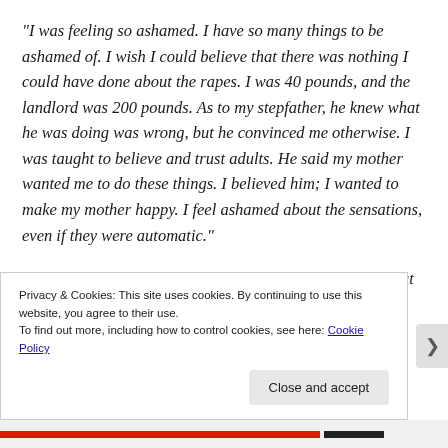“I was feeling so ashamed. I have so many things to be ashamed of. I wish I could believe that there was nothing I could have done about the rapes. I was 40 pounds, and the landlord was 200 pounds. As to my stepfather, he knew what he was doing was wrong, but he convinced me otherwise. I was taught to believe and trust adults. He said my mother wanted me to do these things. I believed him; I wanted to make my mother happy. I feel ashamed about the sensations, even if they were automatic.”
“Tomorrow is the movie. I am anxious and don’t know what to expect. I am going to go to bed now and pray for
Privacy & Cookies: This site uses cookies. By continuing to use this website, you agree to their use.
To find out more, including how to control cookies, see here: Cookie Policy